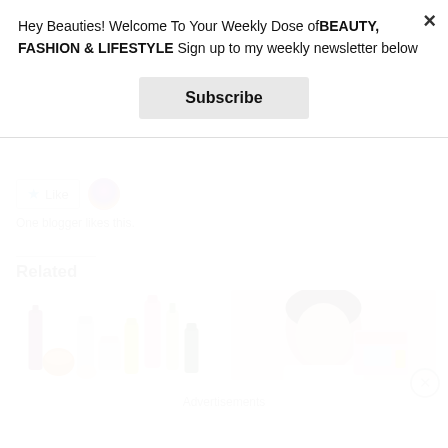Hey Beauties! Welcome To Your Weekly Dose ofBEAUTY, FASHION & LIFESTYLE Sign up to my weekly newsletter below
Subscribe
[Figure (other): Like button with star icon and a round avatar thumbnail]
One blogger likes this.
Related
[Figure (photo): Beauty and skincare products arranged in a row - serums, creams, cleansers in pink and orange packaging]
[Figure (photo): Woman holding a pink delivery box and showing its contents to camera]
Advertisements